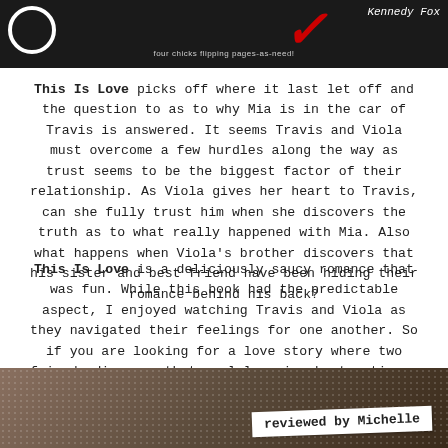[Figure (photo): Top banner image with dark background, circular logo on left, red stylized checkmark/swoosh in center-right area, cursive author name 'Kennedy Fox' on right, tagline 'four chicks flipping pages as-needed' in center bottom]
This Is Love picks off where it last let off and the question to as to why Mia is in the car of Travis is answered. It seems Travis and Viola must overcome a few hurdles along the way as trust seems to be the biggest factor of their relationship. As Viola gives her heart to Travis, can she fully trust him when she discovers the truth as to what really happened with Mia. Also what happens when Viola's brother discovers that his sister and best friend have been hiding their romance behind his back?
This Is Love is a deliciously saucy romance that was fun. While this book had the predictable aspect, I enjoyed watching Travis and Viola as they navigated their feelings for one another. So if you are looking for a love story where two friends discover that real love is about patience and sacrifice then this book is for you.
[Figure (photo): Bottom image of a book on a textured surface, with a white label banner reading 'reviewed by Michelle' in monospace font, slightly rotated]